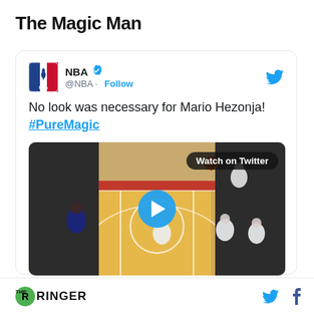The Magic Man
[Figure (screenshot): Embedded tweet from @NBA showing a basketball video. Tweet text: 'No look was necessary for Mario Hezonja! #PureMagic'. Video thumbnail shows NBA basketball game on a court with a 'Watch on Twitter' badge and a play button.]
THE RINGER (logo) | Twitter bird icon | Facebook f icon